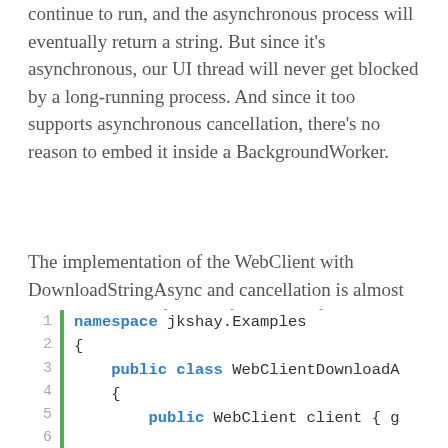continue to run, and the asynchronous process will eventually return a string. But since it's asynchronous, our UI thread will never get blocked by a long-running process. And since it too supports asynchronous cancellation, there's no reason to embed it inside a BackgroundWorker.
The implementation of the WebClient with DownloadStringAsync and cancellation is almost identical to that of the configuration of the BackgroundWorker. If you've read that article, this will seem a little like déjà vu.
[Figure (screenshot): Code block showing C# namespace declaration with line numbers 1-6, a green left border bar, and syntax-highlighted code including 'namespace jkshay.Examples', '{', 'public class WebClientDownloadA', '{', 'public WebClient client { g', and a blank line 6.]